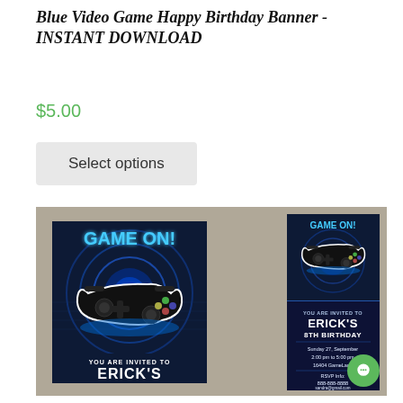Blue Video Game Happy Birthday Banner - INSTANT DOWNLOAD
$5.00
Select options
[Figure (photo): Product listing image showing two video game birthday invitation designs with 'GAME ON!' text and Xbox controller graphic on dark blue background with wood frame. Right card shows event details for Erick's 8th Birthday: Sunday 27, September, 2:00 pm to 5:00 pm, 16404 GameLand, RSVP Info: 888-888-8888, sandra@gmail.com]